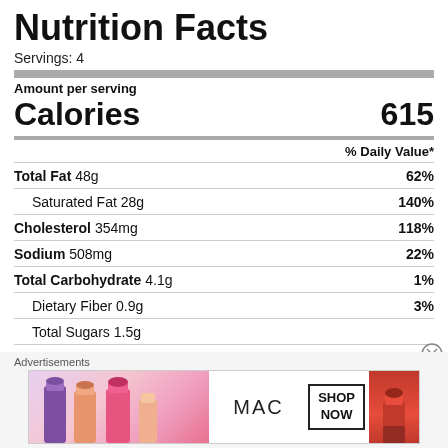Nutrition Facts
Servings: 4
| Nutrient | Amount | % Daily Value |
| --- | --- | --- |
| Amount per serving |  |  |
| Calories | 615 |  |
|  | % Daily Value* |  |
| Total Fat 48g |  | 62% |
| Saturated Fat 28g |  | 140% |
| Cholesterol 354mg |  | 118% |
| Sodium 508mg |  | 22% |
| Total Carbohydrate 4.1g |  | 1% |
| Dietary Fiber 0.9g |  | 3% |
| Total Sugars 1.5g |  |  |
| Protein 41.5g |  |  |
Advertisements
[Figure (photo): MAC cosmetics advertisement banner showing lipsticks, MAC logo, SHOP NOW button, and red lipstick on right side]